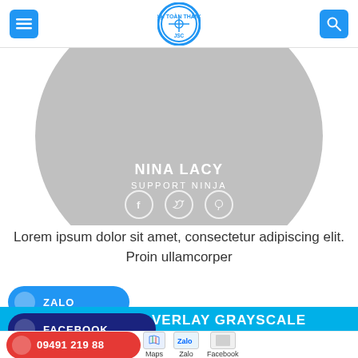Header navigation with menu icon, JSC logo, and search icon
[Figure (illustration): Profile card with gray circular background, showing name NINA LACY, title SUPPORT NINJA, and three social media icon circles (Facebook, Twitter, Pinterest)]
Lorem ipsum dolor sit amet, consectetur adipiscing elit. Proin ullamcorper
ZALO
OVERLAY GRAYSCALE
FACEBOOK
09491 219 88  Maps  Zalo  Facebook